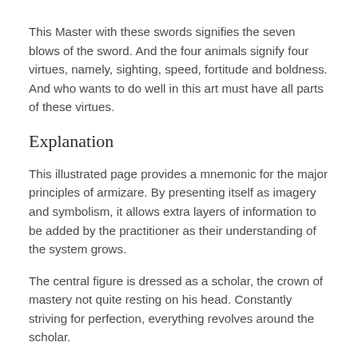This Master with these swords signifies the seven blows of the sword. And the four animals signify four virtues, namely, sighting, speed, fortitude and boldness. And who wants to do well in this art must have all parts of these virtues.
Explanation
This illustrated page provides a mnemonic for the major principles of armizare. By presenting itself as imagery and symbolism, it allows extra layers of information to be added by the practitioner as their understanding of the system grows.
The central figure is dressed as a scholar, the crown of mastery not quite resting on his head. Constantly striving for perfection, everything revolves around the scholar.